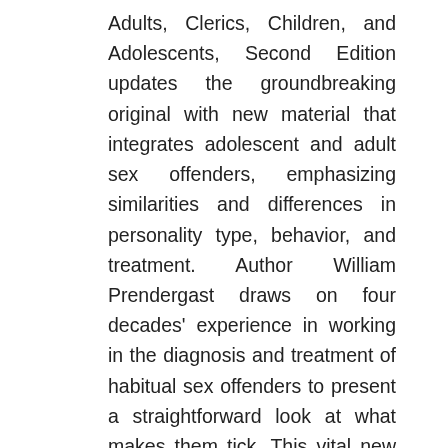Adults, Clerics, Children, and Adolescents, Second Edition updates the groundbreaking original with new material that integrates adolescent and adult sex offenders, emphasizing similarities and differences in personality type, behavior, and treatment. Author William Prendergast draws on four decades' experience in working in the diagnosis and treatment of habitual sex offenders to present a straightforward look at what makes them tick. This vital new edition includes appropriate additions and changes to treatment techniques, progress reports on case study subjects, reader feedback on the original book, and perhaps most important, new information on religious personnel who molest children. Treating Sex Offenders provides